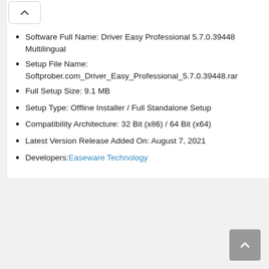Software Full Name: Driver Easy Professional 5.7.0.39448 Multilingual
Setup File Name: Softprober.com_Driver_Easy_Professional_5.7.0.39448.rar
Full Setup Size: 9.1 MB
Setup Type: Offline Installer / Full Standalone Setup
Compatibility Architecture: 32 Bit (x86) / 64 Bit (x64)
Latest Version Release Added On: August 7, 2021
Developers: Easeware Technology